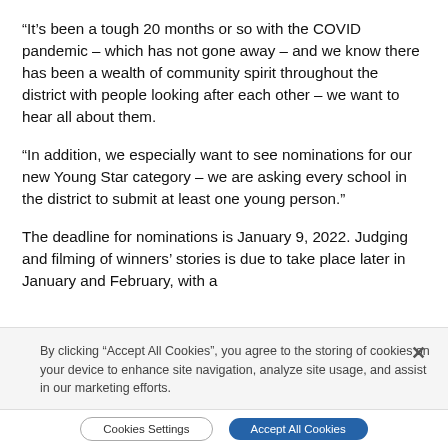“It’s been a tough 20 months or so with the COVID pandemic – which has not gone away – and we know there has been a wealth of community spirit throughout the district with people looking after each other – we want to hear all about them.
“In addition, we especially want to see nominations for our new Young Star category – we are asking every school in the district to submit at least one young person.”
The deadline for nominations is January 9, 2022. Judging and filming of winners’ stories is due to take place later in January and February, with a
By clicking “Accept All Cookies”, you agree to the storing of cookies on your device to enhance site navigation, analyze site usage, and assist in our marketing efforts.